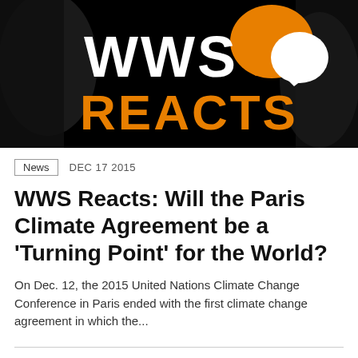[Figure (logo): WWS Reacts banner with black background, white 'WWS' text, orange 'REACTS' text, orange and white speech bubble icons, and dark silhouette shapes on sides]
News   DEC 17 2015
WWS Reacts: Will the Paris Climate Agreement be a 'Turning Point' for the World?
On Dec. 12, the 2015 United Nations Climate Change Conference in Paris ended with the first climate change agreement in which the...